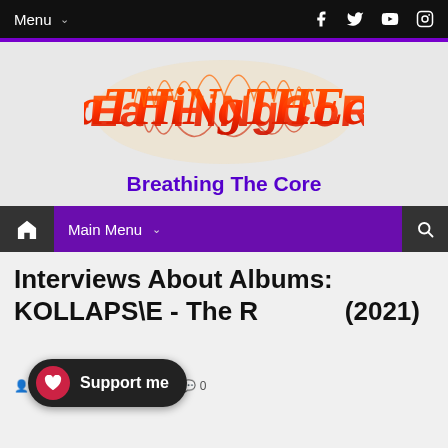Menu
[Figure (logo): Breathing The Core website logo — ornate metal/blackletter style text in orange-red flame effect]
Breathing The Core
Main Menu
Interviews About Albums: KOLLAPS\E - The R... (2021)
Screamer  21:56:00  0